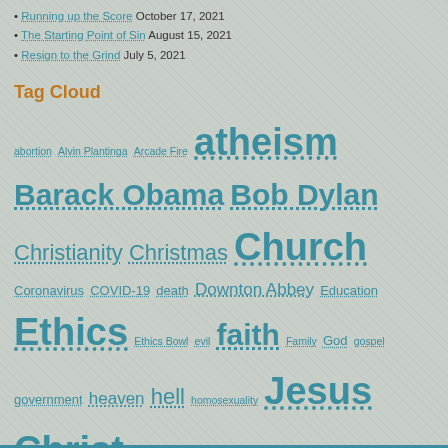Running up the Score October 17, 2021
The Starting Point of Sin August 15, 2021
Resign to the Grind July 5, 2021
Tag Cloud
abortion Alvin Plantinga Arcade Fire atheism Barack Obama Bob Dylan Christianity Christmas Church Coronavirus COVID-19 death Downton Abbey Education Ethics Ethics Bowl evil faith Family God gospel government heaven hell homosexuality Jesus Christ Lent logic marriage Morrissey open-mindedness parenting Philosophy Politics Rob Bell same-sex marriage Sports suffering Taylor Swift Taylor University Theology U2 virtue wisdom worship